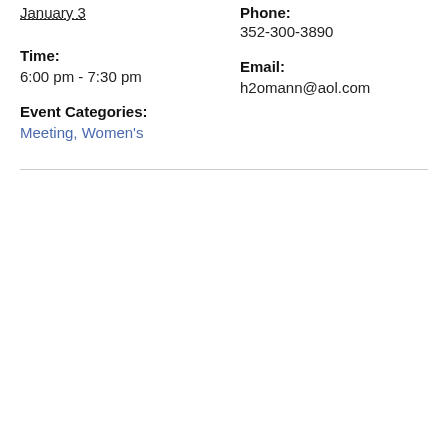January 3
Phone:
Time:
352-300-3890
6:00 pm - 7:30 pm
Email:
Event Categories:
h2omann@aol.com
Meeting, Women's